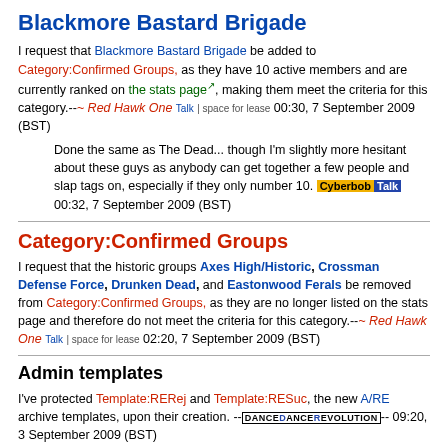Blackmore Bastard Brigade
I request that Blackmore Bastard Brigade be added to Category:Confirmed Groups, as they have 10 active members and are currently ranked on the stats page, making them meet the criteria for this category.--~ Red Hawk One Talk | space for lease 00:30, 7 September 2009 (BST)
Done the same as The Dead... though I'm slightly more hesitant about these guys as anybody can get together a few people and slap tags on, especially if they only number 10. Cyberbob Talk 00:32, 7 September 2009 (BST)
Category:Confirmed Groups
I request that the historic groups Axes High/Historic, Crossman Defense Force, Drunken Dead, and Eastonwood Ferals be removed from Category:Confirmed Groups, as they are no longer listed on the stats page and therefore do not meet the criteria for this category.--~ Red Hawk One Talk | space for lease 02:20, 7 September 2009 (BST)
Admin templates
I've protected Template:RERej and Template:RESuc, the new A/RE archive templates, upon their creation. --DANCEDANCEREVOLUTION-- 09:20, 3 September 2009 (BST)